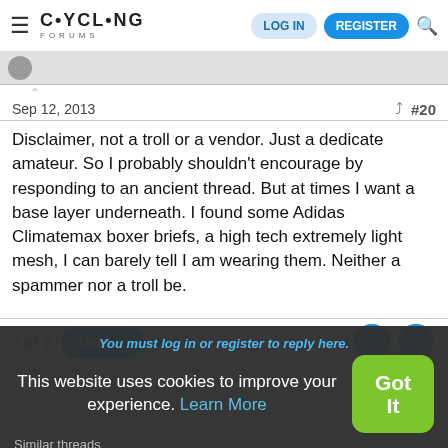≡ CYCLING FORUMS | LOG IN | REGISTER | 🔍
Sep 12, 2013  #20
Disclaimer, not a troll or a vendor. Just a dedicate amateur. So I probably shouldn't encourage by responding to an ancient thread. But at times I want a base layer underneath. I found some Adidas Climatemax boxer briefs, a high tech extremely light mesh, I can barely tell I am wearing them. Neither a spammer nor a troll be.
1 of 2  Next ▶  ▶▶
You must log in or register to reply here.
This website uses cookies to improve your experience. Learn More
Got It
Similar threads